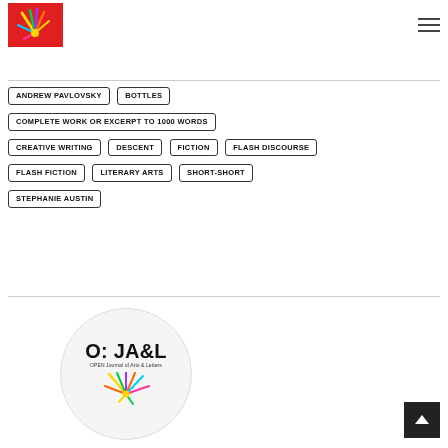[Figure (logo): Red background logo with colorful hand/splash graphic for OJAL - Open Journal of Arts & Letters]
ANDREW PAVLOVSKY
BOTTLES
COMPLETE WORK OR EXCERPT TO 1000 WORDS
CREATIVE WRITING
DESCENT
FICTION
FLASH DISCOURSE
FLASH FICTION
LITERARY ARTS
SHORT-SHORT
STEPHANIE AUSTIN
[Figure (logo): Circular O:JA&L (Open Journal of Arts & Letters) logo with colorful splash graphic and text]